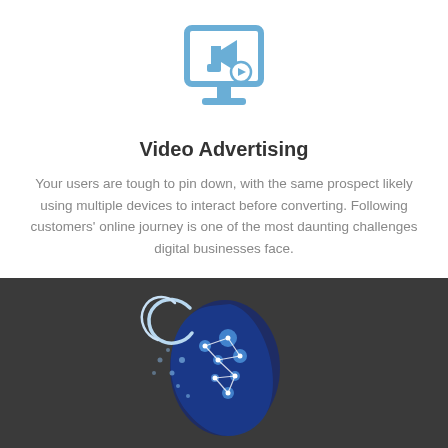[Figure (illustration): Blue monitor icon with a megaphone/bullhorn and a play button overlay, flat design style]
Video Advertising
Your users are tough to pin down, with the same prospect likely using multiple devices to interact before converting. Following customers' online journey is one of the most daunting challenges digital businesses face.
Read More
[Figure (logo): Dark background section with a stylized human head profile logo composed of blue geometric constellation/network lines and blue dots on one side, and white swirling lines on the other side — AI brain or digital mind concept logo]